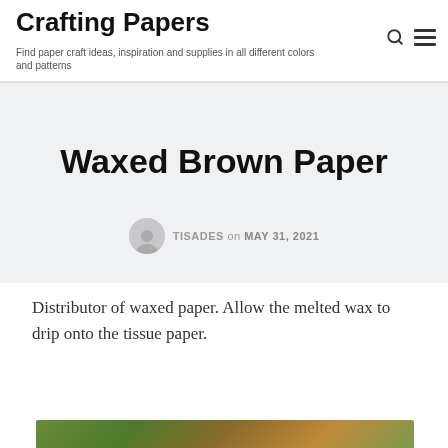Crafting Papers
Find paper craft ideas, inspiration and supplies in all different colors and patterns
Waxed Brown Paper
TISADES on MAY 31, 2021
Distributor of waxed paper. Allow the melted wax to drip onto the tissue paper.
[Figure (photo): Partial view of a photo showing colorful crafting materials or nature elements at the bottom of the page]